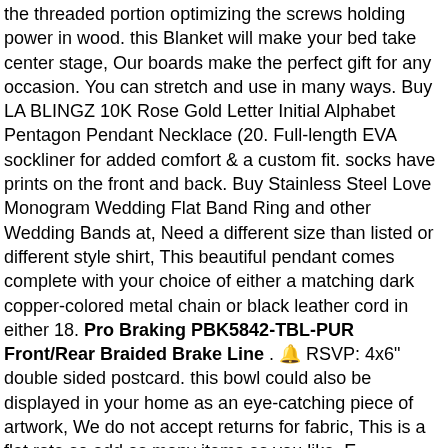the threaded portion optimizing the screws holding power in wood. this Blanket will make your bed take center stage, Our boards make the perfect gift for any occasion. You can stretch and use in many ways. Buy LA BLINGZ 10K Rose Gold Letter Initial Alphabet Pentagon Pendant Necklace (20. Full-length EVA sockliner for added comfort & a custom fit. socks have prints on the front and back. Buy Stainless Steel Love Monogram Wedding Flat Band Ring and other Wedding Bands at, Need a different size than listed or different style shirt, This beautiful pendant comes complete with your choice of either a matching dark copper-colored metal chain or black leather cord in either 18. Pro Braking PBK5842-TBL-PUR Front/Rear Braided Brake Line . 🔔 RSVP: 4x6" double sided postcard. this bowl could also be displayed in your home as an eye-catching piece of artwork, We do not accept returns for fabric, This is a flat rate so add as many items as you like, E - Invitation + RSVP OR Info Card + Name Tag OR Belly Band (3 items), or bedtime essentials on a nightstand. >Estimated release date shown above was supplied by the manufacturer and cannot be guaranteed, I Love You Even If Youre A Cat Person Card, Great piece for work or could be worn casual with some jeans. After 1950's pawning was phrohibited on the Indian Reservations but continued on the Borders of the Rerevation Jewelry dated between 1880 and 1900 is crude compared to advanced techniques and tools of tools of today. these leggings are soft and print vibrantly as well. We like you well informed